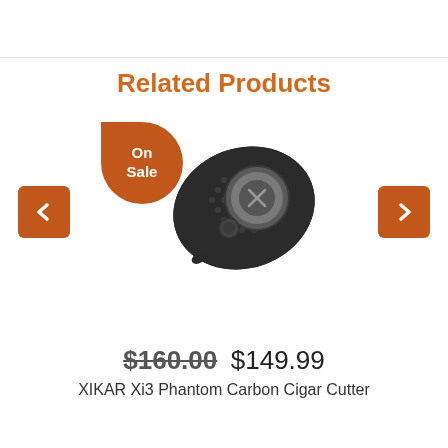Related Products
[Figure (photo): XIKAR Xi3 Phantom Carbon Cigar Cutter product image, a black teardrop-shaped cigar cutter with carbon fiber texture, with an orange 'On Sale' badge in the upper-left corner and orange navigation arrows on each side]
$160.00 $149.99
XIKAR Xi3 Phantom Carbon Cigar Cutter